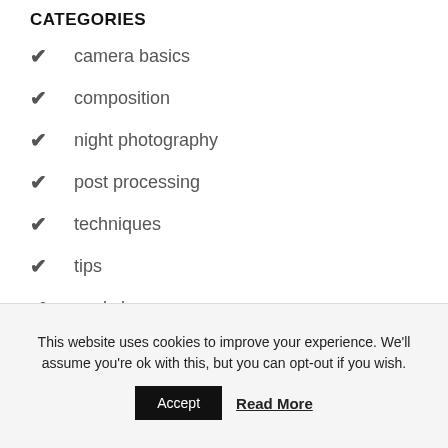CATEGORIES
camera basics
composition
night photography
post processing
techniques
tips
workshops
This website uses cookies to improve your experience. We'll assume you're ok with this, but you can opt-out if you wish. Accept Read More